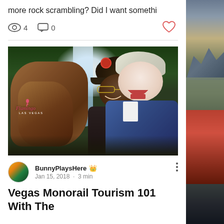more rock scrambling? Did I want somethi
👁 4   🗨 0   ♡
[Figure (photo): Selfie of two people in front of a Flamingo Las Vegas rock waterfall attraction. One person wears a cap and glasses, the other has short blonde hair and is smiling widely.]
BunnyPlaysHere 👑  Jan 15, 2018 · 3 min
Vegas Monorail Tourism 101 With The